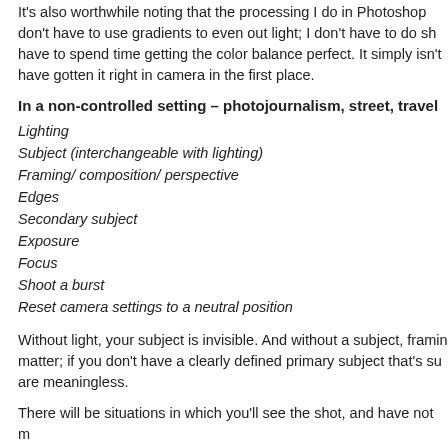It's also worthwhile noting that the processing I do in Photoshop don't have to use gradients to even out light; I don't have to do sha have to spend time getting the color balance perfect. It simply isn't have gotten it right in camera in the first place.
In a non-controlled setting – photojournalism, street, travel
Lighting
Subject (interchangeable with lighting)
Framing/ composition/ perspective
Edges
Secondary subject
Exposure
Focus
Shoot a burst
Reset camera settings to a neutral position
Without light, your subject is invisible. And without a subject, framin matter; if you don't have a clearly defined primary subject that's su are meaningless.
There will be situations in which you'll see the shot, and have not m